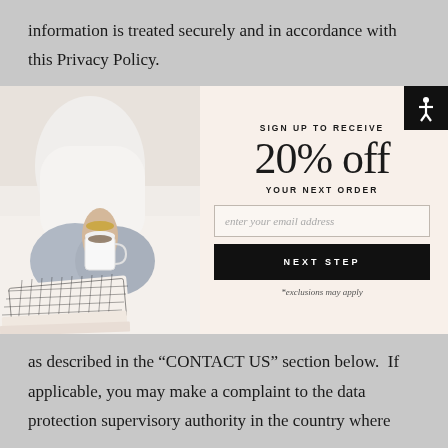information is treated securely and in accordance with this Privacy Policy.
[Figure (photo): Person sitting cross-legged on a white bed holding a coffee mug, with a checkered notebook and books in foreground]
SIGN UP TO RECEIVE
20% off
YOUR NEXT ORDER
enter your email address
NEXT STEP
*exclusions may apply
as described in the “CONTACT US” section below.  If applicable, you may make a complaint to the data protection supervisory authority in the country where you